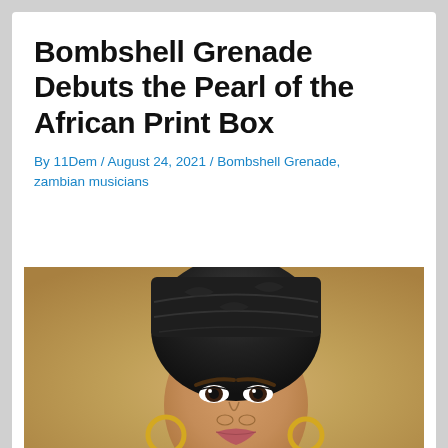Bombshell Grenade Debuts the Pearl of the African Print Box
By 11Dem / August 24, 2021 / Bombshell Grenade, zambian musicians
[Figure (photo): Portrait photo of a woman wearing a large dark black African head wrap/turban, gold hoop earrings, and glamorous makeup with defined brows, against a warm golden-brown textured background.]